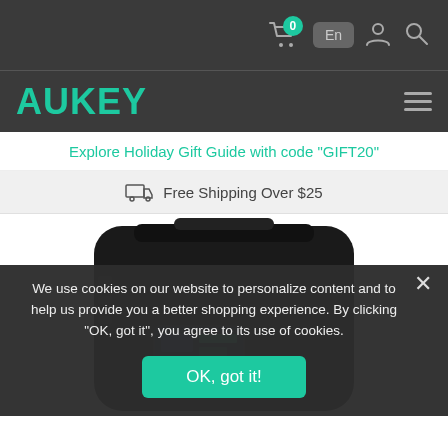AUKEY — Navigation bar with cart (0), language (En), account, and search icons
Explore Holiday Gift Guide with code "GIFT20"
Free Shipping Over $25
[Figure (photo): Partial photo of a black portable power station/battery device, cropped at bottom of page]
We use cookies on our website to personalize content and to help us provide you a better shopping experience. By clicking "OK, got it", you agree to its use of cookies.
OK, got it!